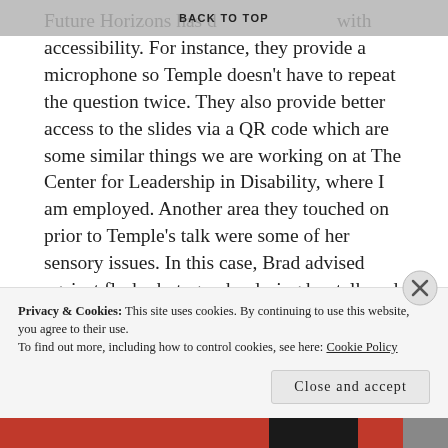BACK TO TOP
Future Horizons has done a great job with accessibility. For instance, they provide a microphone so Temple doesn't have to repeat the question twice. They also provide better access to the slides via a QR code which are some similar things we are working on at The Center for Leadership in Disability, where I am employed. Another area they touched on prior to Temple's talk were some of her sensory issues. In this case, Brad advised against flash photography during her talk and no video recording. That said, I had sat in the front of the room and had gotten up to use to rest room twice during her talk. She told me that one of her sensory issues was having people walk in front of her while she does a talk and how it disrupts her thoughts.
Privacy & Cookies: This site uses cookies. By continuing to use this website, you agree to their use.
To find out more, including how to control cookies, see here: Cookie Policy